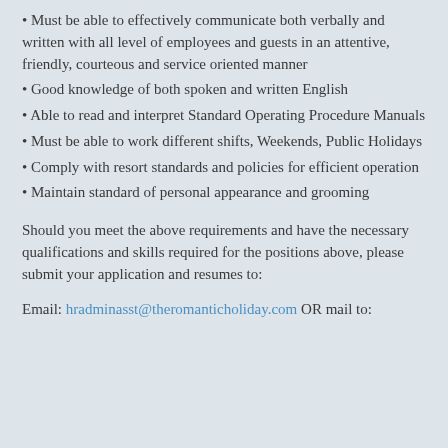• Must be able to effectively communicate both verbally and written with all level of employees and guests in an attentive, friendly, courteous and service oriented manner
• Good knowledge of both spoken and written English
• Able to read and interpret Standard Operating Procedure Manuals
• Must be able to work different shifts, Weekends, Public Holidays
• Comply with resort standards and policies for efficient operation
• Maintain standard of personal appearance and grooming
Should you meet the above requirements and have the necessary qualifications and skills required for the positions above, please submit your application and resumes to:
Email: hradminasst@theromanticholiday.com OR mail to: